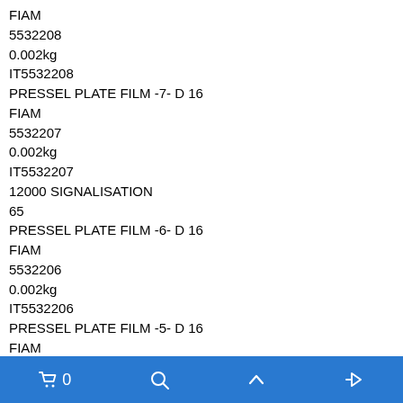FIAM
5532208
0.002kg
IT5532208
PRESSEL PLATE FILM -7- D 16
FIAM
5532207
0.002kg
IT5532207
12000 SIGNALISATION
65
PRESSEL PLATE FILM -6- D 16
FIAM
5532206
0.002kg
IT5532206
PRESSEL PLATE FILM -5- D 16
FIAM
5532205
0.002kg
IT5532205
PRESSEL PLATE FILM -4- D 16
FIAM
5532204
0.002kg
IT5532204
0